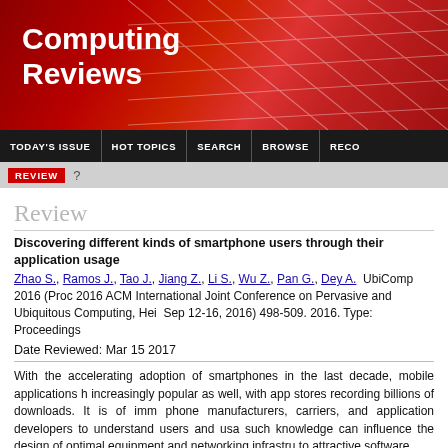[Figure (logo): Computing Reviews banner with red gradient background and grid pattern]
TODAY'S ISSUE | HOT TOPICS | SEARCH | BROWSE | RECO
REVIEW ?
Review
Discovering different kinds of smartphone users through their application usage
Zhao S., Ramos J., Tao J., Jiang Z., Li S., Wu Z., Pan G., Dey A.  UbiComp 2016 (Proceedings of the 2016 ACM International Joint Conference on Pervasive and Ubiquitous Computing, Hei Sep 12-16, 2016) 498-509. 2016. Type: Proceedings
Date Reviewed: Mar 15 2017
With the accelerating adoption of smartphones in the last decade, mobile applications h increasingly popular as well, with app stores recording billions of downloads. It is of imm phone manufacturers, carriers, and application developers to understand users and usa such knowledge can influence the design of optimal equipment and networking infrastru to attractive software.
Research is still ongoing on this topic, and the underlying patterns are still elusive and r recognized. The authors here are attempting to address this challenge by offering new insights, as well as valuable suggestions.
According to the authors, the research community so far has been making a simplified a considering users as characterized by a small number of types. Apparently, such a form